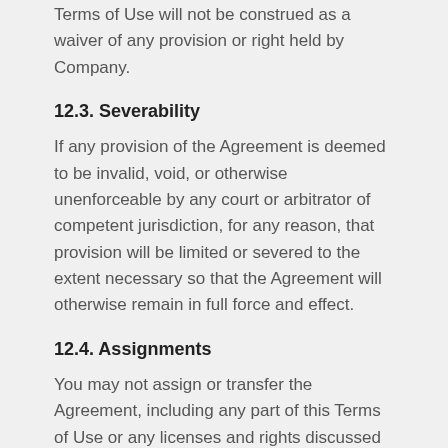Terms of Use will not be construed as a waiver of any provision or right held by Company.
12.3. Severability
If any provision of the Agreement is deemed to be invalid, void, or otherwise unenforceable by any court or arbitrator of competent jurisdiction, for any reason, that provision will be limited or severed to the extent necessary so that the Agreement will otherwise remain in full force and effect.
12.4. Assignments
You may not assign or transfer the Agreement, including any part of this Terms of Use or any licenses and rights discussed herein, without our prior written consent. Any attempt by you to assign, transfer, delegate or sublicense the Agreement, or any part thereof, without such consent will be null and void. We